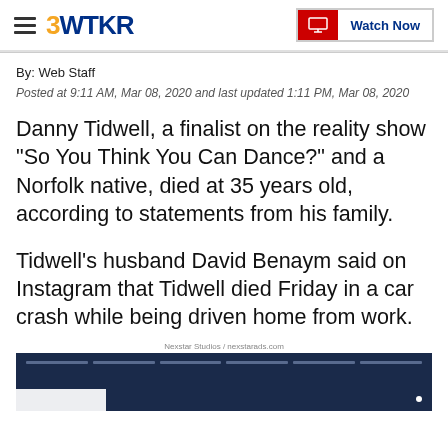3WTKR  Watch Now
By: Web Staff
Posted at 9:11 AM, Mar 08, 2020 and last updated 1:11 PM, Mar 08, 2020
Danny Tidwell, a finalist on the reality show "So You Think You Can Dance?" and a Norfolk native, died at 35 years old, according to statements from his family.
Tidwell's husband David Benaym said on Instagram that Tidwell died Friday in a car crash while being driven home from work.
[Figure (screenshot): Video thumbnail with dark navy background and progress bar indicators at top, white box at bottom left]